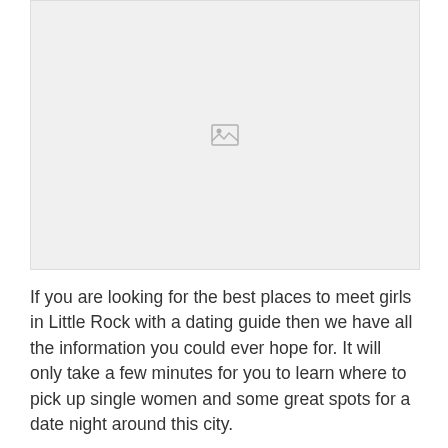[Figure (photo): Image placeholder with broken image icon on light gray background]
If you are looking for the best places to meet girls in Little Rock with a dating guide then we have all the information you could ever hope for. It will only take a few minutes for you to learn where to pick up single women and some great spots for a date night around this city.